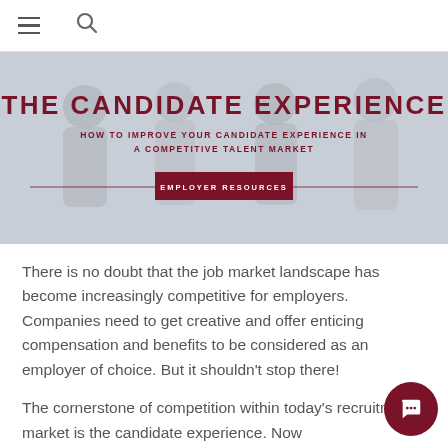≡ 🔍
[Figure (photo): Hero banner image showing people sitting in waiting area with tablets, overlaid with dark red text reading 'THE CANDIDATE EXPERIENCE' and subtitle 'HOW TO IMPROVE YOUR CANDIDATE EXPERIENCE IN A COMPETITIVE TALENT MARKET' with an 'EMPLOYER RESOURCES' button]
There is no doubt that the job market landscape has become increasingly competitive for employers. Companies need to get creative and offer enticing compensation and benefits to be considered as an employer of choice. But it shouldn't stop there!
The cornerstone of competition within today's recruitment market is the candidate experience. Now